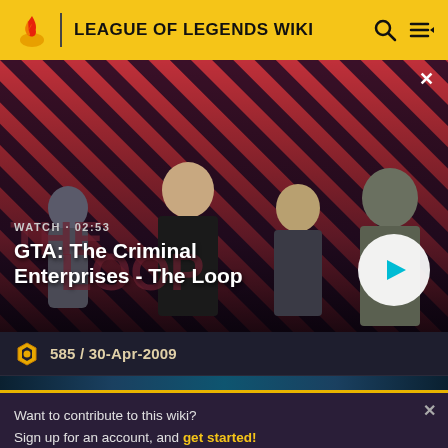LEAGUE OF LEGENDS WIKI
[Figure (screenshot): GTA: The Criminal Enterprises - The Loop video thumbnail with four characters on a red diagonal striped background. Shows WATCH • 02:53 label and play button.]
585 / 30-Apr-2009
Want to contribute to this wiki? Sign up for an account, and get started! You can even turn off ads in your preferences.